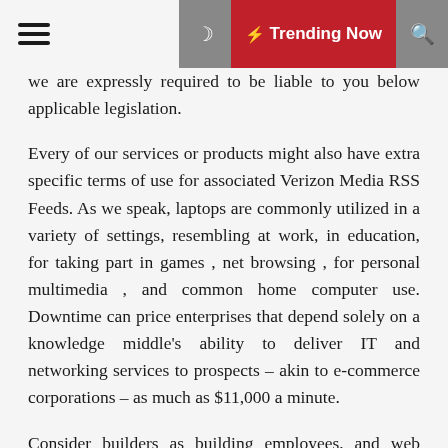≡ ☾ ⚡ Trending Now 🔍
we are expressly required to be liable to you below applicable legislation.
Every of our services or products might also have extra specific terms of use for associated Verizon Media RSS Feeds. As we speak, laptops are commonly utilized in a variety of settings, resembling at work, in education, for taking part in games , net browsing , for personal multimedia , and common home computer use. Downtime can price enterprises that depend solely on a knowledge middle's ability to deliver IT and networking services to prospects – akin to e-commerce corporations – as much as $11,000 a minute.
Consider builders as building employees, and web designers as architects – both obligatory, but completely different, ability units. Mobile computing could be defined as the flexibility to make use of technology that isn't physically linked to any static community. As broadband Internet connections turn into commonplace